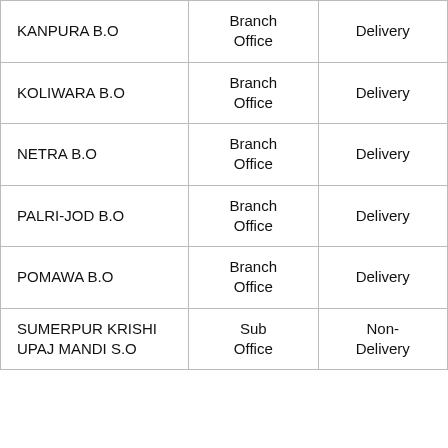| KANPURA B.O | Branch Office | Delivery |
| KOLIWARA B.O | Branch Office | Delivery |
| NETRA B.O | Branch Office | Delivery |
| PALRI-JOD B.O | Branch Office | Delivery |
| POMAWA B.O | Branch Office | Delivery |
| SUMERPUR KRISHI UPAJ MANDI S.O | Sub Office | Non-Delivery |